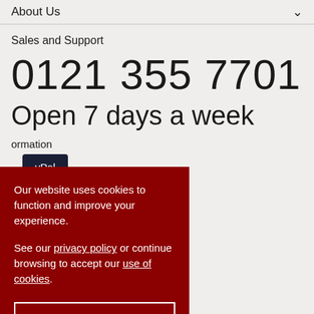About Us
Sales and Support
0121 355 7701
Open 7 days a week
ormation
[Figure (logo): PayPal button/logo in dark navy rectangle]
e Email Offers
Our website uses cookies to function and improve your experience.

See our privacy policy or continue browsing to accept our use of cookies.
Accept & Close